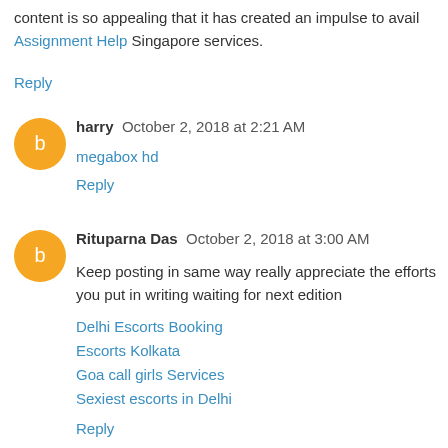content is so appealing that it has created an impulse to avail Assignment Help Singapore services.
Reply
harry  October 2, 2018 at 2:21 AM
megabox hd
Reply
Rituparna Das  October 2, 2018 at 3:00 AM
Keep posting in same way really appreciate the efforts you put in writing waiting for next edition
Delhi Escorts Booking
Escorts Kolkata
Goa call girls Services
Sexiest escorts in Delhi
Reply